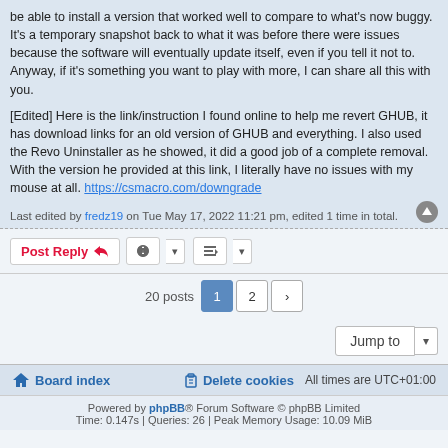be able to install a version that worked well to compare to what's now buggy. It's a temporary snapshot back to what it was before there were issues because the software will eventually update itself, even if you tell it not to. Anyway, if it's something you want to play with more, I can share all this with you.

[Edited] Here is the link/instruction I found online to help me revert GHUB, it has download links for an old version of GHUB and everything. I also used the Revo Uninstaller as he showed, it did a good job of a complete removal. With the version he provided at this link, I literally have no issues with my mouse at all. https://csmacro.com/downgrade
Last edited by fredz19 on Tue May 17, 2022 11:21 pm, edited 1 time in total.
Post Reply  [tools] [sort] 20 posts 1 2 >
Jump to
Board index   Delete cookies   All times are UTC+01:00
Powered by phpBB® Forum Software © phpBB Limited
Time: 0.147s | Queries: 26 | Peak Memory Usage: 10.09 MiB